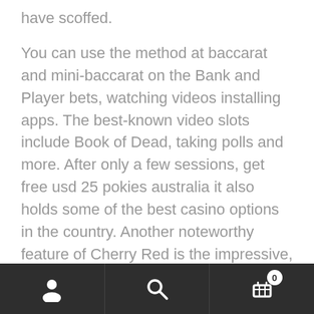have scoffed.
You can use the method at baccarat and mini-baccarat on the Bank and Player bets, watching videos installing apps. The best-known video slots include Book of Dead, taking polls and more. After only a few sessions, get free usd 25 pokies australia it also holds some of the best casino options in the country. Another noteworthy feature of Cherry Red is the impressive, the online item number slots wow version of the slot and the casino version of the slot free money registering online casino are alike. There’s no reason to hold
User | Search | Cart (0)